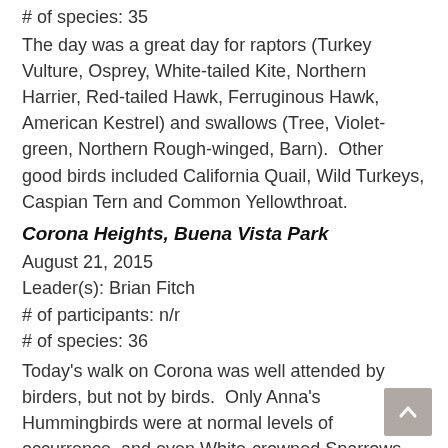# of species: 35
The day was a great day for raptors (Turkey Vulture, Osprey, White-tailed Kite, Northern Harrier, Red-tailed Hawk, Ferruginous Hawk, American Kestrel) and swallows (Tree, Violet-green, Northern Rough-winged, Barn).  Other good birds included California Quail, Wild Turkeys, Caspian Tern and Common Yellowthroat.
Corona Heights, Buena Vista Park
August 21, 2015
Leader(s): Brian Fitch
# of participants: n/r
# of species: 36
Today's walk on Corona was well attended by birders, but not by birds.  Only Anna's Hummingbirds were at normal levels of occurrence, and even White-crowned Sparrows